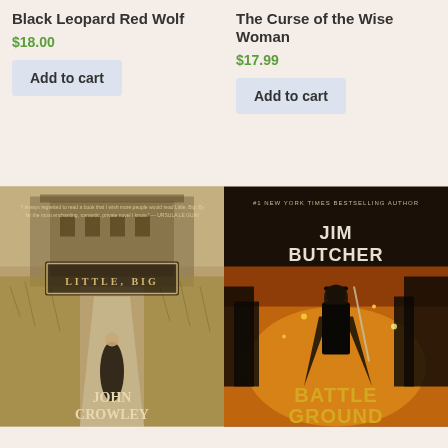Black Leopard Red Wolf
$18.00
Add to cart
The Curse of the Wise Woman
$17.99
Add to cart
[Figure (photo): Book cover: Little, Big by John Crowley. Sepia-toned image of a woman in a long dark dress standing on a rural road lined with dry grass, with an old building in the background. Title 'LITTLE, BIG' in a decorative frame near the top center.]
[Figure (photo): Book cover: Battle Ground by Jim Butcher. '#1 New York Times Bestselling Author' at top. A dark-clad figure with a hat holding a staff stands amid fiery orange explosions in a cityscape. 'JIM BUTCHER' in large bold text and 'BATTLE GROUND' at the bottom.]